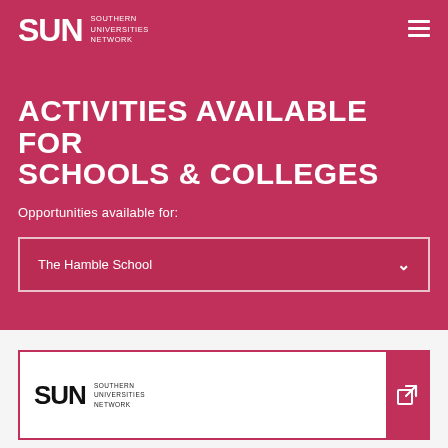SUN SOUTHERN UNIVERSITIES NETWORK
ACTIVITIES AVAILABLE FOR SCHOOLS & COLLEGES
Opportunities available for:
The Hamble School
[Figure (logo): SUN Southern Universities Network logo with external link icon on pink background card]
SUN SOUTHERN UNIVERSITIES NETWORK